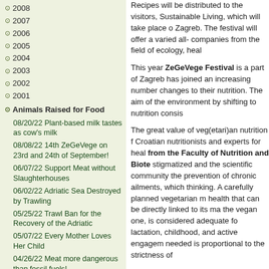2008
2007
2006
2005
2004
2003
2002
2001
Animals Raised for Food
08/20/22 Plant-based milk tastes as cow's milk
08/08/22 14th ZeGeVege on 23rd and 24th of September!
06/07/22 Support Meat without Slaughterhouses
06/02/22 Adriatic Sea Destroyed by Trawling
05/25/22 Trawl Ban for the Recovery of the Adriatic
05/07/22 Every Mother Loves Her Child
04/26/22 Meat more dangerous than fossil fuels!
04/13/22 Celebrate Easter with
Recipes will be distributed to the visitors, Sustainable Living, which will take place o Zagreb. The festival will offer a varied all- companies from the field of ecology, heal
This year ZeGeVege Festival is a part of Zagreb has joined an increasing number changes to their nutrition. The aim of the environment by shifting to nutrition consis
The great value of veg(etari)an nutrition f Croatian nutritionists and experts for heal from the Faculty of Nutrition and Biote stigmatized and the scientific community the prevention of chronic ailments, which thinking. A carefully planned vegetarian m health that can be directly linked to its ma the vegan one, is considered adequate fo lactation, childhood, and active engagem needed is proportional to the strictness of
For additional information on ZeGeVege f the free cooking workshops at www.prijato
[Figure (photo): Photo strip at bottom right showing people at what appears to be an event or festival]